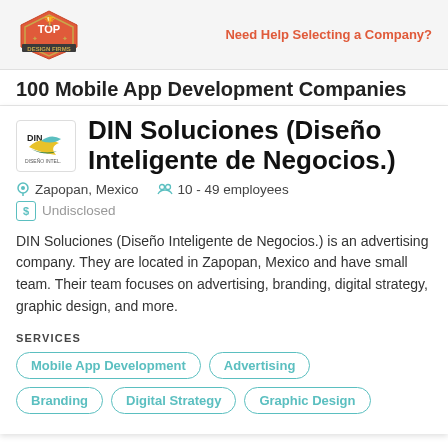Need Help Selecting a Company?
100 Mobile App Development Companies
DIN Soluciones (Diseño Inteligente de Negocios.)
Zapopan, Mexico   10 - 49 employees   Undisclosed
DIN Soluciones (Diseño Inteligente de Negocios.) is an advertising company. They are located in Zapopan, Mexico and have small team. Their team focuses on advertising, branding, digital strategy, graphic design, and more.
SERVICES
Mobile App Development
Advertising
Branding
Digital Strategy
Graphic Design